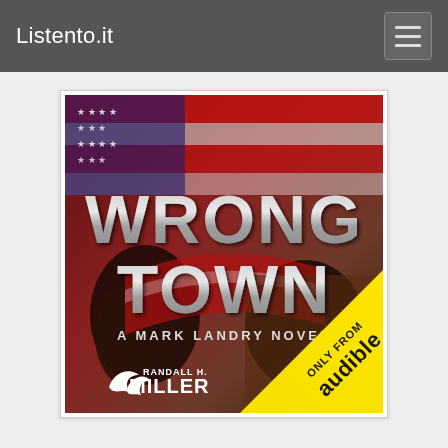Listento.it
[Figure (illustration): Book cover for 'Wrong Town: A Mark Landry Novel' by Randall H. Miller. Dark background featuring an American flag and hands. Large silver/metallic text reads 'WRONG TOWN'. Subtitle 'A MARK LANDRY NOVEL'. Author name 'RANDALL H. MILLER' with a bird logo at bottom left. Yellow diagonal banner at bottom right reads 'ONLY FROM audible'.]